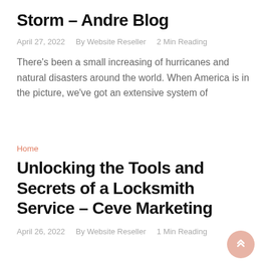Storm – Andre Blog
April 27, 2022   By Website Reseller   2 Min Reading
There's been a small increasing of hurricanes and natural disasters around the world. When America is in the picture, we've got an extensive system of
Home
Unlocking the Tools and Secrets of a Locksmith Service – Ceve Marketing
April 26, 2022   By Website Reseller   1 Min Reading